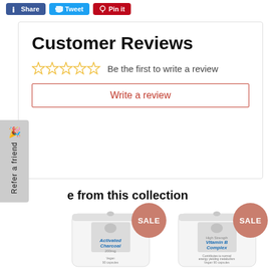[Figure (screenshot): Social sharing buttons: Share (Facebook blue), Tweet (Twitter blue), Pin it (Pinterest red)]
Customer Reviews
[Figure (other): 5 star rating icons (empty/outline stars in yellow)]
Be the first to write a review
Write a review
e from this collection
[Figure (photo): Product bag: Activated Charcoal 200mg, Vegan, 90 capsules, with SALE badge]
[Figure (photo): Product bag: High Strength Vitamin B Complex, Vegan, 90 capsules, with SALE badge]